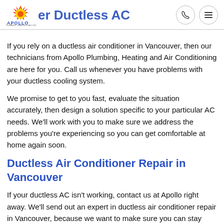Vancouver Ductless AC
If you rely on a ductless air conditioner in Vancouver, then our technicians from Apollo Plumbing, Heating and Air Conditioning are here for you. Call us whenever you have problems with your ductless cooling system.
We promise to get to you fast, evaluate the situation accurately, then design a solution specific to your particular AC needs. We'll work with you to make sure we address the problems you're experiencing so you can get comfortable at home again soon.
Ductless Air Conditioner Repair in Vancouver
If your ductless AC isn't working, contact us at Apollo right away. We'll send out an expert in ductless air conditioner repair in Vancouver, because we want to make sure you can stay cool in your home no matter what.